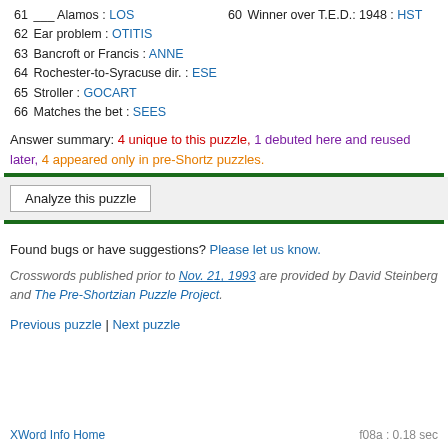61 ___ Alamos : LOS
60 Winner over T.E.D.: 1948 : HST
62 Ear problem : OTITIS
63 Bancroft or Francis : ANNE
64 Rochester-to-Syracuse dir. : ESE
65 Stroller : GOCART
66 Matches the bet : SEES
Answer summary: 4 unique to this puzzle, 1 debuted here and reused later, 4 appeared only in pre-Shortz puzzles.
Analyze this puzzle
Found bugs or have suggestions? Please let us know.
Crosswords published prior to Nov. 21, 1993 are provided by David Steinberg and The Pre-Shortzian Puzzle Project.
Previous puzzle | Next puzzle
XWord Info Home    f08a : 0.18 sec